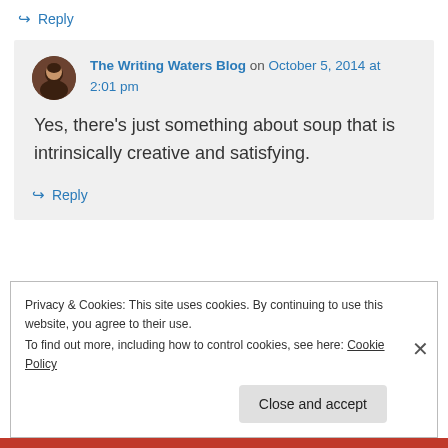↳ Reply
The Writing Waters Blog on October 5, 2014 at 2:01 pm
Yes, there's just something about soup that is intrinsically creative and satisfying.
↳ Reply
Privacy & Cookies: This site uses cookies. By continuing to use this website, you agree to their use. To find out more, including how to control cookies, see here: Cookie Policy
Close and accept